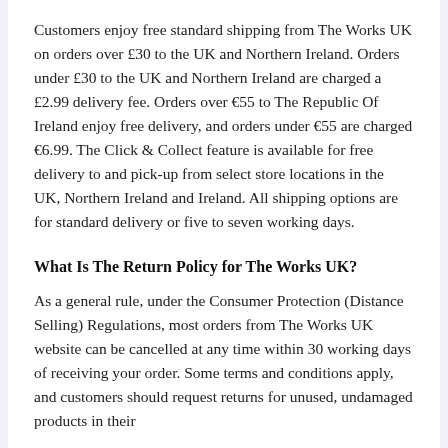Customers enjoy free standard shipping from The Works UK on orders over £30 to the UK and Northern Ireland. Orders under £30 to the UK and Northern Ireland are charged a £2.99 delivery fee. Orders over €55 to The Republic Of Ireland enjoy free delivery, and orders under €55 are charged €6.99. The Click & Collect feature is available for free delivery to and pick-up from select store locations in the UK, Northern Ireland and Ireland. All shipping options are for standard delivery or five to seven working days.
What Is The Return Policy for The Works UK?
As a general rule, under the Consumer Protection (Distance Selling) Regulations, most orders from The Works UK website can be cancelled at any time within 30 working days of receiving your order. Some terms and conditions apply, and customers should request returns for unused, undamaged products in their